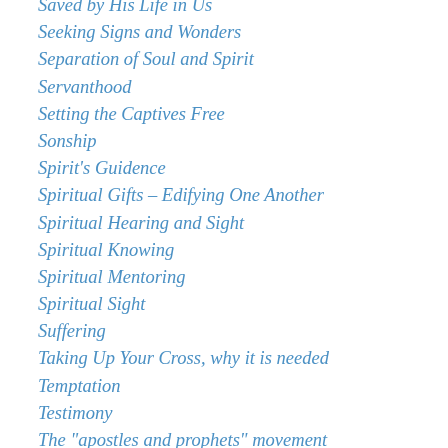Saved by His Life in Us
Seeking Signs and Wonders
Separation of Soul and Spirit
Servanthood
Setting the Captives Free
Sonship
Spirit's Guidence
Spiritual Gifts – Edifying One Another
Spiritual Hearing and Sight
Spiritual Knowing
Spiritual Mentoring
Spiritual Sight
Suffering
Taking Up Your Cross, why it is needed
Temptation
Testimony
The "apostles and prophets" movement
The Anointing
The Antichrist Spirit
The Bride of Christ